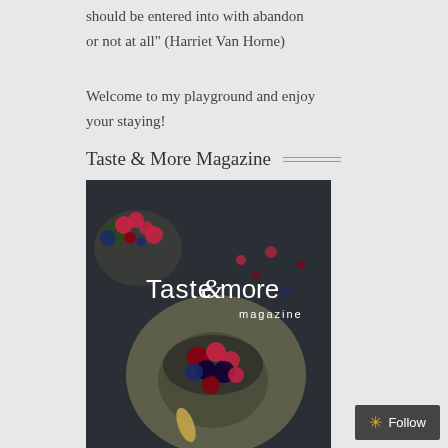should be entered into with abandon or not at all" (Harriet Van Horne)
Welcome to my playground and enjoy your staying!
Taste & More Magazine
[Figure (photo): Magazine cover of Taste & More magazine showing berries (raspberries, blueberries, blackberries) in bowls on a dark background with the text 'Taste & More magazine' overlaid in white.]
Follow